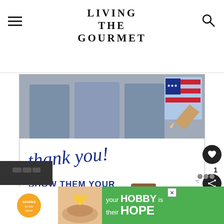LIVING THE GOURMET
[Figure (photo): Operation Gratitude promotional image showing people holding cards and letters with a patriotic pencil graphic. Text reads 'Thank you! SHOW THEM YOUR SUPPORT OPERATION GRATITUDE']
[Figure (photo): What's Next thumbnail showing Turkish coffee]
WHAT'S NEXT →
Traditional Turkish Coffee
[Figure (photo): Bottom advertisement for Cookies for Kids Cancer: 'your HOBBY is their HOPE' on green background with heart-shaped cookie image]